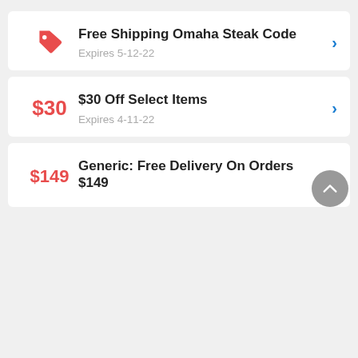Free Shipping Omaha Steak Code — Expires 5-12-22
$30 Off Select Items — Expires 4-11-22
Generic: Free Delivery On Orders $149